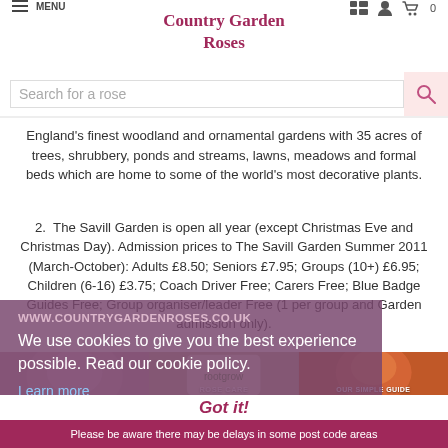MENU  Country Garden Roses
Search for a rose
England's finest woodland and ornamental gardens with 35 acres of trees, shrubbery, ponds and streams, lawns, meadows and formal beds which are home to some of the world's most decorative plants.
2.  The Savill Garden is open all year (except Christmas Eve and Christmas Day). Admission prices to The Savill Garden Summer 2011 (March-October): Adults £8.50; Seniors £7.95; Groups (10+) £6.95; Children (6-16) £3.75; Coach Driver Free; Carers Free; Blue Badge Guides Free; Group organiser/leader Free (1 per group and Garden admission only).
WWW.COUNTRYGARDENROSES.CO.UK
We use cookies to give you the best experience possible. Read our cookie policy.
Learn more
[Figure (photo): Three rose category images: NEW ROSES (pink rose), ROSE CARE PRODUCTS (rootgrow product), OUR SIMPLE GUIDE TO ROSE CARE (orange rose)]
Got it!
Please be aware there may be delays in some post code areas